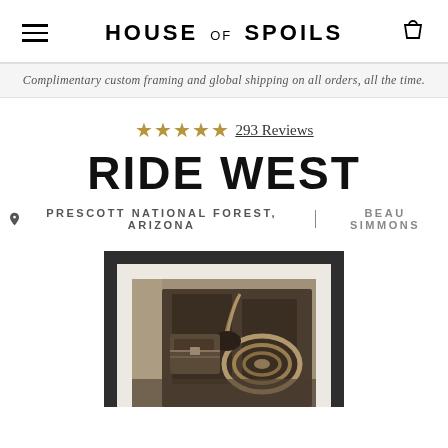HOUSE of SPOILS
Complimentary custom framing and global shipping on all orders, all the time.
★★★★★ 293 Reviews
RIDE WEST
📍 PRESCOTT NATIONAL FOREST, ARIZONA | BEAU SIMMONS
[Figure (photo): Framed black-and-white photograph showing a cowboy or rancher holding rope and saddle equipment, mounted in a dark frame with white mat.]